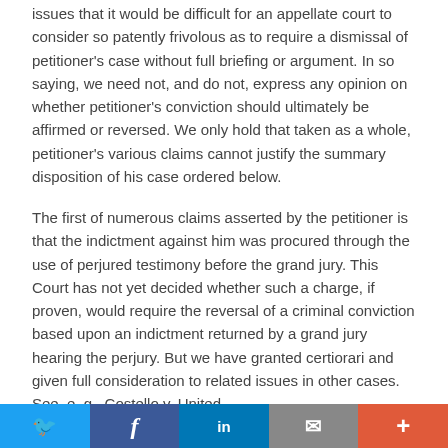issues that it would be difficult for an appellate court to consider so patently frivolous as to require a dismissal of petitioner's case without full briefing or argument. In so saying, we need not, and do not, express any opinion on whether petitioner's conviction should ultimately be affirmed or reversed. We only hold that taken as a whole, petitioner's various claims cannot justify the summary disposition of his case ordered below.
The first of numerous claims asserted by the petitioner is that the indictment against him was procured through the use of perjured testimony before the grand jury. This Court has not yet decided whether such a charge, if proven, would require the reversal of a criminal conviction based upon an indictment returned by a grand jury hearing the perjury. But we have granted certiorari and given full consideration to related issues in other cases. See, e. g., Costello v. United